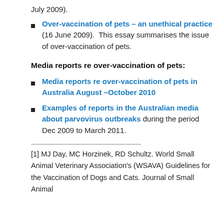July 2009).
Over-vaccination of pets – an unethical practice (16 June 2009).  This essay summarises the issue of over-vaccination of pets.
Media reports re over-vaccination of pets:
Media reports re over-vaccination of pets in Australia August –October 2010
Examples of reports in the Australian media about parvovirus outbreaks during the period Dec 2009 to March 2011.
[1] MJ Day, MC Horzinek, RD Schultz. World Small Animal Veterinary Association's (WSAVA) Guidelines for the Vaccination of Dogs and Cats. Journal of Small Animal Practice...